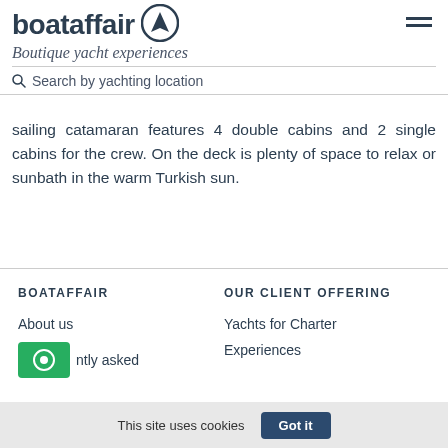boataffair — Boutique yacht experiences | Search by yachting location
sailing catamaran features 4 double cabins and 2 single cabins for the crew. On the deck is plenty of space to relax or sunbath in the warm Turkish sun.
BOATAFFAIR
OUR CLIENT OFFERING
About us
Yachts for Charter
ntly asked
Experiences
This site uses cookies  Got it